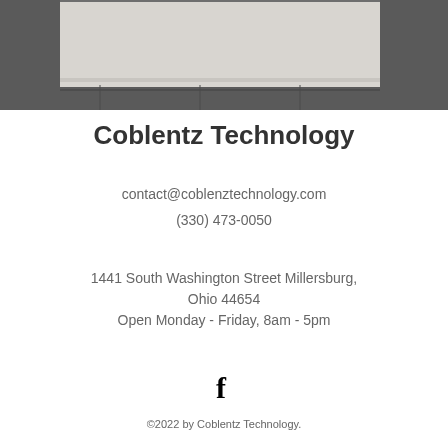[Figure (photo): Photograph of a building exterior, grayscale, showing architectural details with a light gray panel area at top and darker gray tones below with some line details]
Coblentz Technology
contact@coblenztechnology.com
(330) 473-0050
1441 South Washington Street Millersburg, Ohio 44654
Open Monday - Friday, 8am - 5pm
[Figure (illustration): Facebook icon (letter f)]
©2022 by Coblentz Technology.